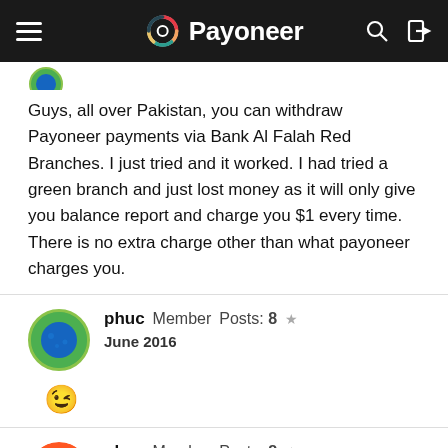Payoneer
Guys, all over Pakistan, you can withdraw Payoneer payments via Bank Al Falah Red Branches. I just tried and it worked. I had tried a green branch and just lost money as it will only give you balance report and charge you $1 every time. There is no extra charge other than what payoneer charges you.
phuc Member Posts: 8 ★ June 2016
😉
phuc Member Posts: 8 ★ June 2016